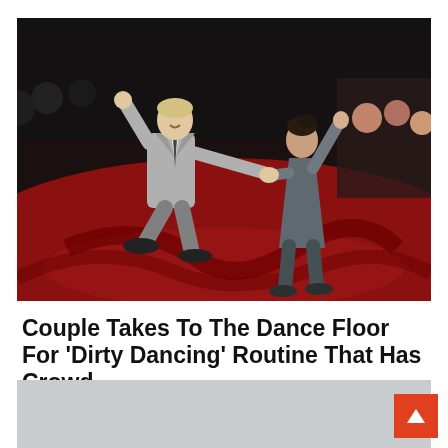[Figure (photo): Two dancers — a man in a grey suit and a woman in a grey dress — performing a swing/dirty dancing routine on a red dance floor with audience in background]
Couple Takes To The Dance Floor For 'Dirty Dancing' Routine That Has Crowd...
They're absolutely amazing to watch!
Reshareworthy
[Figure (photo): Bottom portion of a second article card showing what appears to be a modern interior room with white furniture]